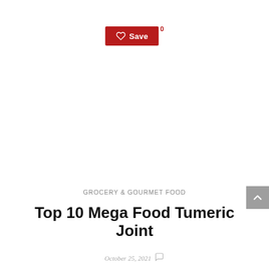[Figure (other): Red Save button with heart icon and count badge showing 0]
GROCERY & GOURMET FOOD
Top 10 Mega Food Tumeric Joint
October 25, 2021